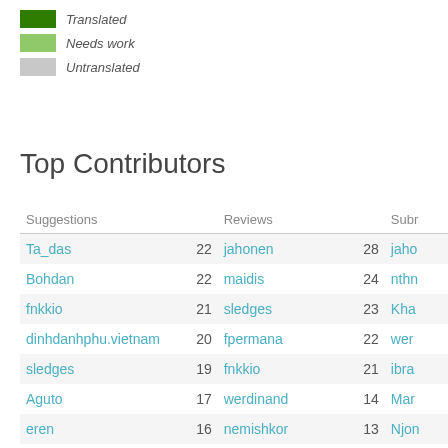Translated
Needs work
Untranslated
Top Contributors
| Suggestions |  | Reviews |  | Subm… |
| --- | --- | --- | --- | --- |
| Ta_das | 22 | jahonen | 28 | jahc… |
| Bohdan | 22 | maidis | 24 | nthn… |
| fnkkio | 21 | sledges | 23 | Kha… |
| dinhdanhphu.vietnam | 20 | fpermana | 22 | wer… |
| sledges | 19 | fnkkio | 21 | ibra… |
| Aguto | 17 | werdinand | 14 | Mar… |
| eren | 16 | nemishkor | 13 | Njon… |
| lhodas | 16 | icc | 10 | spo… |
| werdinand | 14 | starfish | 8 | sled… |
| garaushi | 12 | ttpr | 7 | mai… |
| mercifuljoan | 12 | ntbn | 7 | fnkk… |